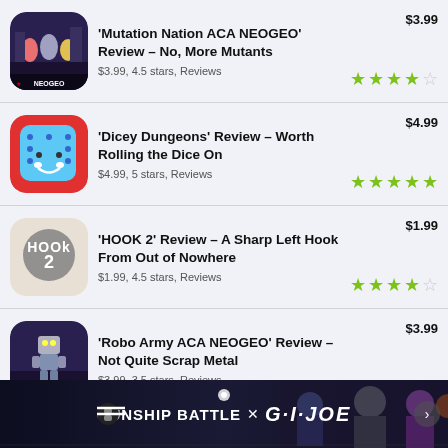'Mutation Nation ACA NEOGEO' Review – No, More Mutants
'Dicey Dungeons' Review – Worth Rolling the Dice On
'HOOK 2' Review – A Sharp Left Hook From Out of Nowhere
'Robo Army ACA NEOGEO' Review – Not Quite Scrap Metal
'Hero Emblems II' Review – There's No Catch to this Match
[Figure (infographic): Advertisement banner: GUNSHIP BATTLE x G.I.JOE with characters from the game]